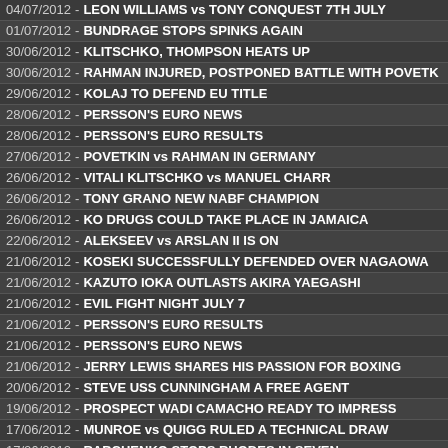04/07/2012 - LEON WILLIAMS vs TONY CONQUEST 7TH JULY
01/07/2012 - BUNDRAGE STOPS SPINKS AGAIN
30/06/2012 - KLITSCHKO, THOMPSON HEATS UP
30/06/2012 - RAHMAN INJURED, POSTPONED BATTLE WITH POVETK
29/06/2012 - KOLAJ TO DEFEND EU TITLE
28/06/2012 - PERSSON'S EURO NEWS
28/06/2012 - PERSSON'S EURO RESULTS
27/06/2012 - POVETKIN vs RAHMAN IN GERMANY
26/06/2012 - VITALI KLITSCHKO vs MANUEL CHARR
26/06/2012 - TONY GRANO NEW NABF CHAMPION
26/06/2012 - KO DRUGS COULD TAKE PLACE IN JAMAICA
22/06/2012 - ALEKSEEV vs ARSLAN II IS ON
21/06/2012 - KOSEKI SUCCESSFULLY DEFENDED OVER NAGAOWA
21/06/2012 - KAZUTO IOKA OUTLASTS AKIRA YAEGASHI
21/06/2012 - EVIL FIGHT NIGHT JULY 7
21/06/2012 - PERSSON'S EURO RESULTS
21/06/2012 - PERSSON'S EURO NEWS
21/06/2012 - JERRY LEWIS SHARES HIS PASSION FOR BOXING
20/06/2012 - STEVE USS CUNNINGHAM A FREE AGENT
19/06/2012 - PROSPECT WADI CAMACHO READY TO IMPRESS
17/06/2012 - MUNROE vs QUIGG RULED A TECHNICAL DRAW
17/06/2012 - RABCHENKO STOPS RHODES IN SEVEN
17/06/2012 - JULIO CESAR CHAVEZ JR RETAINS TITLE
16/06/2012 - MOHAMMEDI KNOCKS OUT NGUMBU
16/06/2012 - TSZYU TRAINING POVETKIN
16/06/2012 - PIANETA SPARRING WLADIMIR KLISTCHKO